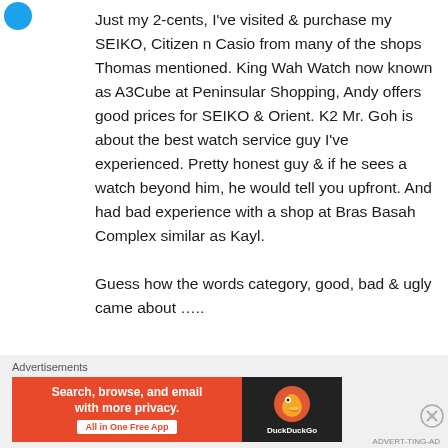Just my 2-cents, I've visited & purchase my SEIKO, Citizen n Casio from many of the shops Thomas mentioned. King Wah Watch now known as A3Cube at Peninsular Shopping, Andy offers good prices for SEIKO & Orient. K2 Mr. Goh is about the best watch service guy I've experienced. Pretty honest guy & if he sees a watch beyond him, he would tell you upfront. And had bad experience with a shop at Bras Basah Complex similar as Kayl.
Guess how the words category, good, bad & ugly came about …..
Advertisements
[Figure (infographic): DuckDuckGo advertisement banner: orange background with text 'Search, browse, and email with more privacy. All in One Free App' and DuckDuckGo logo on dark background]